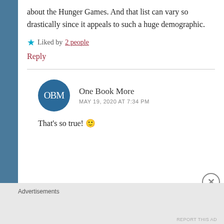about the Hunger Games. And that list can vary so drastically since it appeals to such a huge demographic.
★ Liked by 2 people
Reply
One Book More
MAY 19, 2020 AT 7:34 PM
That's so true! 🙂
Advertisements